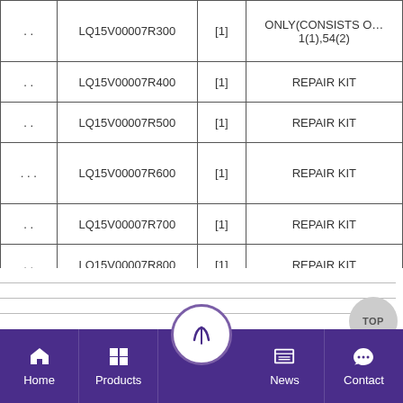|  | Part Number | Qty | Description |
| --- | --- | --- | --- |
| .. | LQ15V00007R300 | [1] | ONLY(CONSISTS OF... 1(1),54(2) |
| .. | LQ15V00007R400 | [1] | REPAIR KIT |
| .. | LQ15V00007R500 | [1] | REPAIR KIT |
| ... | LQ15V00007R600 | [1] | REPAIR KIT |
| .. | LQ15V00007R700 | [1] | REPAIR KIT |
| .. | LQ15V00007R800 | [1] | REPAIR KIT |
| .. | LQ15V00007R900 | [1] | REPAIR KIT |
[Figure (other): Navigation bar with Home, Products, center logo button, News, Contact icons on purple background]